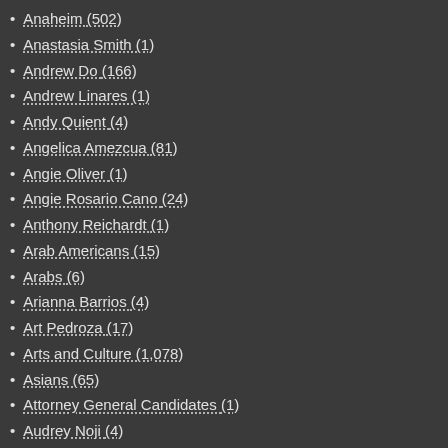Anaheim (502)
Anastasia Smith (1)
Andrew Do (166)
Andrew Linares (1)
Andy Quient (4)
Angelica Amezcua (81)
Angie Oliver (1)
Angie Rosario Cano (24)
Anthony Reichardt (1)
Arab Americans (15)
Arabs (6)
Arianna Barrios (4)
Art Pedroza (17)
Arts and Culture (1,078)
Asians (65)
Attorney General Candidates (1)
Audrey Noji (4)
Autism (3)
automobiles (137)
Ballot Measures (23)
Banking (67)
Bao Nguyen (9)
Barbara Boxer (9)